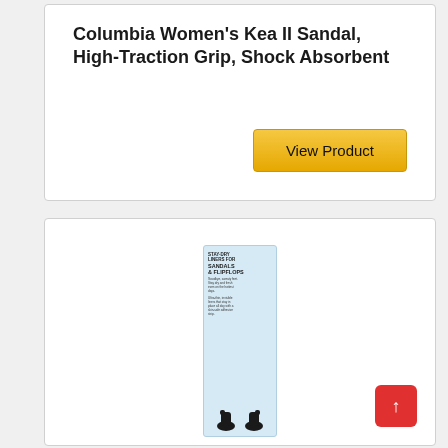Columbia Women's Kea II Sandal, High-Traction Grip, Shock Absorbent
View Product
[Figure (photo): Product packaging box for Stay-Dry liners for sandals and flipflops, light blue box with black shoe silhouettes at bottom]